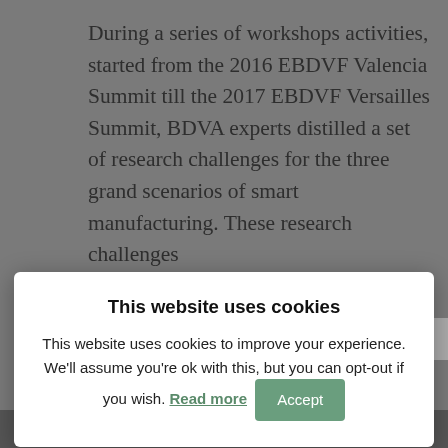During a series of workshops activities, started from the 2016 EBDVF Valencia Summit till the 2017 EBDVF Versailles Summit, BDVA experts distilled a set of research challenges for the three grand scenarios of smart manufacturing. These research challenges
[Figure (screenshot): Cookie consent modal overlaid on a web page. Title: 'This website uses cookies'. Body text: 'This website uses cookies to improve your experience. We'll assume you're ok with this, but you can opt-out if you wish. Read more [Accept button]']
To exemplify the outcomes of this mapping, the following figure gathers the headings of the set of challenges identified by the BDVA